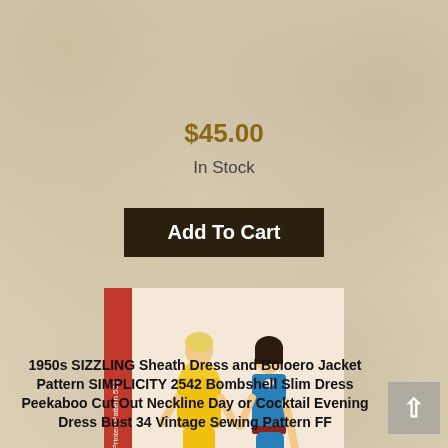$45.00
In Stock
Add To Cart
[Figure (photo): Vintage 1950s Simplicity sewing pattern cover showing two women wearing slim sheath dresses — one in yellow with a bolero jacket, one in blue with a keyhole neckline. Pattern number visible on spine.]
1950s SIZZLING Sheath Dress and Boloero Jacket Pattern SIMPLICITY 2542 Bombshell Slim Dress Peekaboo Cut Out Neckline Day or Cocktail Evening Dress Bust 34 Vintage Sewing Pattern FF